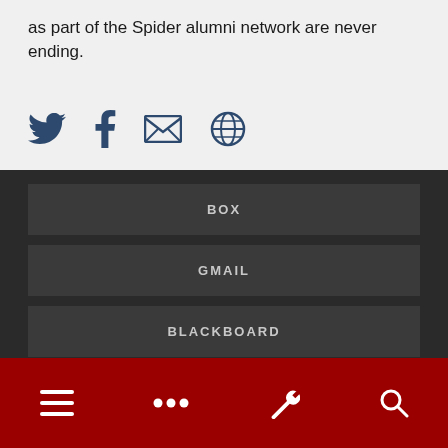as part of the Spider alumni network are never ending.
[Figure (infographic): Social sharing icons: Twitter bird, Facebook f, envelope/email, globe/web]
BOX
GMAIL
BLACKBOARD
EXCHANGE
BANNERWEB (partial)
Navigation bar with menu, more, tools (wrench), and search icons